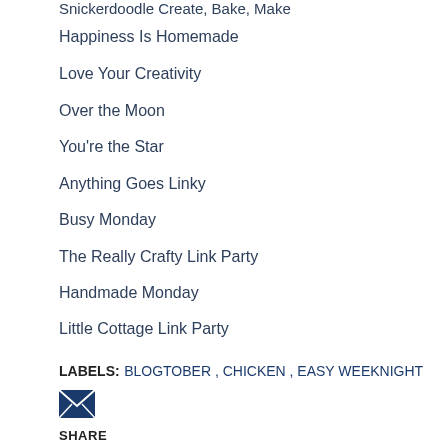Snickerdoodle Create, Bake, Make
Happiness Is Homemade
Love Your Creativity
Over the Moon
You're the Star
Anything Goes Linky
Busy Monday
The Really Crafty Link Party
Handmade Monday
Little Cottage Link Party
LABELS: BLOGTOBER , CHICKEN , EASY WEEKNIGHT
[Figure (other): Email envelope icon (dark navy)]
SHARE
[Figure (other): Share button - dark circular button with share/network icon]